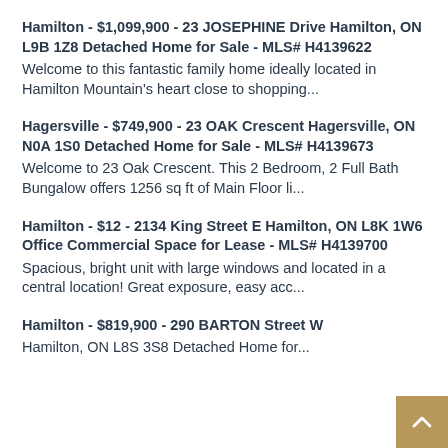Hamilton - $1,099,900 - 23 JOSEPHINE Drive Hamilton, ON L9B 1Z8 Detached Home for Sale - MLS# H4139622
Welcome to this fantastic family home ideally located in Hamilton Mountain's heart close to shopping...
Hagersville - $749,900 - 23 OAK Crescent Hagersville, ON N0A 1S0 Detached Home for Sale - MLS# H4139673
Welcome to 23 Oak Crescent. This 2 Bedroom, 2 Full Bath Bungalow offers 1256 sq ft of Main Floor li...
Hamilton - $12 - 2134 King Street E Hamilton, ON L8K 1W6 Office Commercial Space for Lease - MLS# H4139700
Spacious, bright unit with large windows and located in a central location! Great exposure, easy acc...
Hamilton - $819,900 - 290 BARTON Street W Hamilton, ON L8S 3S8 Detached Home for...